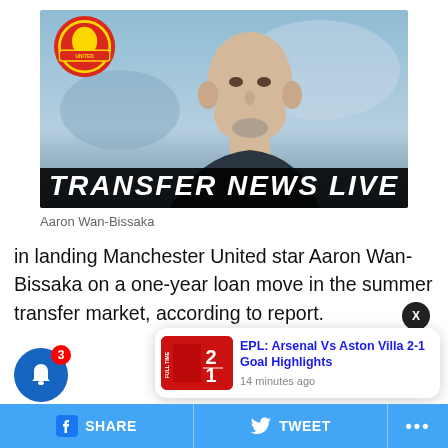[Figure (photo): Manchester United Transfer News Live image featuring a bald man with beard and the Manchester United club crest, with 'TRANSFER NEWS LIVE' text overlaid at the bottom]
Aaron Wan-Bissaka
in landing Manchester United star Aaron Wan-Bissaka on a one-year loan move in the summer transfer market, according to report.
[Figure (screenshot): EPL: Arsenal Vs Aston Villa 2-1 Goal Highlights notification card, 14 minutes ago]
[Figure (infographic): Social media share bar with Facebook SHARE, Twitter TWEET, and more options (…)]